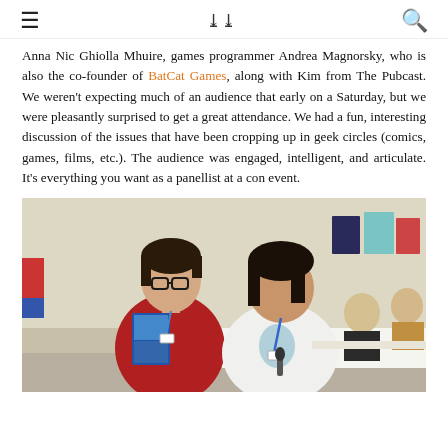≡  ❯❯  🔍
Anna Nic Ghiolla Mhuire, games programmer Andrea Magnorsky, who is also the co-founder of BatCat Games, along with Kim from The Pubcast. We weren't expecting much of an audience that early on a Saturday, but we were pleasantly surprised to get a great attendance. We had a fun, interesting discussion of the issues that have been cropping up in geek circles (comics, games, films, etc.). The audience was engaged, intelligent, and articulate. It's everything you want as a panellist at a con event.
[Figure (photo): Two women standing together at what appears to be a convention vendor area. The woman on the left has short dark hair, glasses, and wears a red hoodie, holding a comic book. The woman on the right has longer dark hair and wears a white t-shirt with a lanyard. In the background are tables with artwork, posters on the wall, and other attendees.]